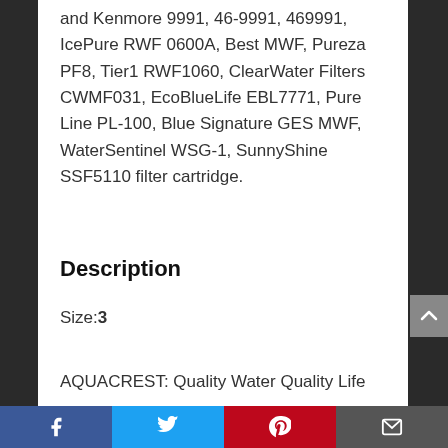and Kenmore 9991, 46-9991, 469991, IcePure RWF 0600A, Best MWF, Pureza PF8, Tier1 RWF1060, ClearWater Filters CWMF031, EcoBlueLife EBL7771, Pure Line PL-100, Blue Signature GES MWF, WaterSentinel WSG-1, SunnyShine SSF5110 filter cartridge.
Description
Size:3
AQUACREST: Quality Water Quality Life